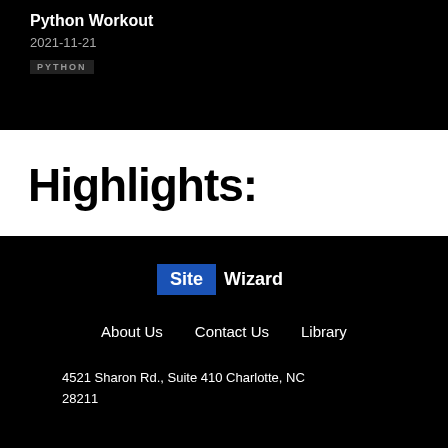[Figure (screenshot): Dark background card showing Python Workout post with date 2021-11-21 and PYTHON tag]
Highlights:
[Figure (logo): SiteWizard logo with blue background on 'Site' and white text 'Wizard']
About Us   Contact Us   Library
4521 Sharon Rd., Suite 410 Charlotte, NC 28211